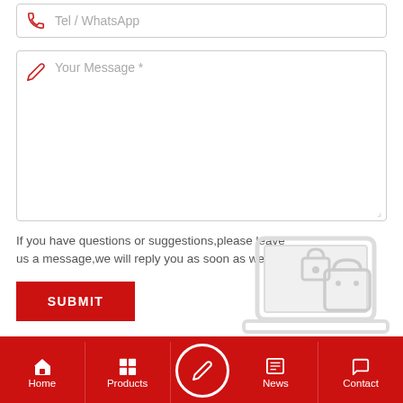[Figure (screenshot): Tel/WhatsApp input field with phone icon]
[Figure (screenshot): Your Message text area with pencil icon and resize handle]
If you have questions or suggestions,please leave us a message,we will reply you as soon as we can!
[Figure (illustration): SUBMIT button (red)]
[Figure (illustration): Laptop/sewing machine illustration in light gray]
[Figure (illustration): Social media icons: Facebook, YouTube, Instagram, LinkedIn, Twitter]
[Figure (illustration): TOP scroll-to-top button (gray circle)]
[Figure (screenshot): Bottom navigation bar with Home, Products, center contact button, News, Contact]